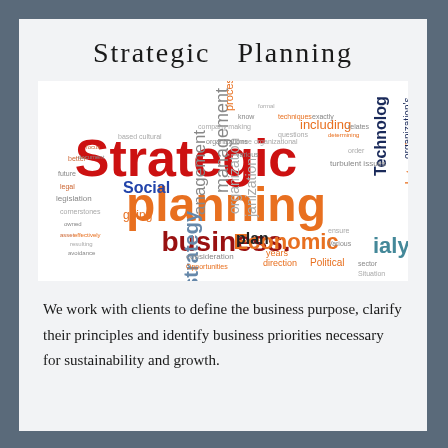Strategic  Planning
[Figure (infographic): Word cloud with strategic planning terms. Dominant words: 'Strategic' in large red, 'planning' in large orange, 'business.' in large dark red, 'Economic' in medium orange, 'Social' in medium blue, 'strategy' in medium gray-blue, 'management' in medium gray, 'organization' in medium gray, 'ialysis' in medium teal, 'Technolog' in medium navy, 'determine' in medium orange, 'including' in small orange, 'plan' in medium dark, 'Political' in small orange, 'process' in small orange, and many other smaller words in various colors.]
We work with clients to define the business purpose, clarify their principles and identify business priorities necessary for sustainability and growth.